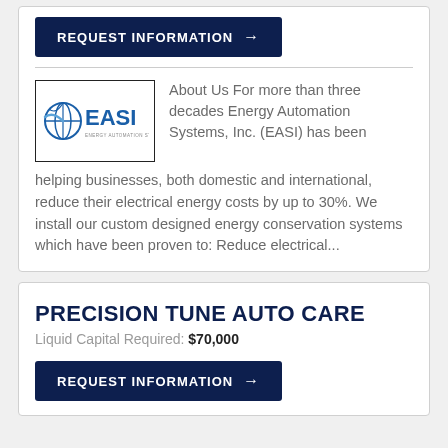REQUEST INFORMATION →
[Figure (logo): EASI Energy Automation Systems Incorporated logo with globe icon]
About Us For more than three decades Energy Automation Systems, Inc. (EASI) has been helping businesses, both domestic and international, reduce their electrical energy costs by up to 30%. We install our custom designed energy conservation systems which have been proven to: Reduce electrical...
PRECISION TUNE AUTO CARE
Liquid Capital Required: $70,000
REQUEST INFORMATION →